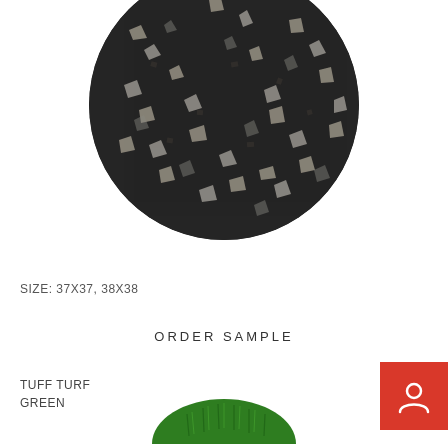[Figure (photo): Circular product sample showing dark speckled rubber or stone texture with light grey and white flecks on a black background]
SIZE: 37X37, 38X38
ORDER SAMPLE
TUFF TURF
GREEN
[Figure (photo): Circular product sample of green artificial turf, partially visible at bottom of page]
[Figure (other): Red button with white person/account icon in the upper right corner of the bottom section]